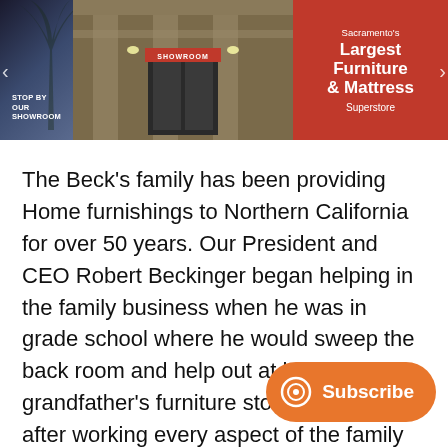[Figure (photo): Banner advertisement for a furniture showroom. Left side shows a dark photo of a showroom exterior with text 'STOP BY OUR SHOWROOM'. Center shows a building entrance with 'SHOWROOM' sign. Right side has a red background with text: Sacramento's Largest Furniture & Mattress Superstore.]
The Beck's family has been providing Home furnishings to Northern California for over 50 years. Our President and CEO Robert Beckinger began helping in the family business when he was in grade school where he would sweep the back room and help out at his grandfather's furniture store. Years later after working every aspect of the family business, and when his Father decided to retire, Robert opened his own store. It was h... started with 8 thousand square feet of retail